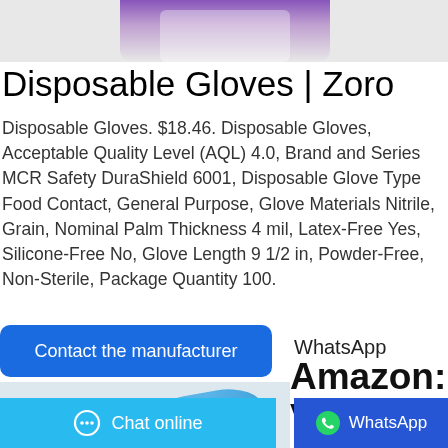[Figure (photo): Top portion of a person wearing purple/blue disposable gloves and white lab coat, cropped at the top of the page]
Disposable Gloves | Zoro
Disposable Gloves. $18.46. Disposable Gloves, Acceptable Quality Level (AQL) 4.0, Brand and Series MCR Safety DuraShield 6001, Disposable Glove Type Food Contact, General Purpose, Glove Materials Nitrile, Grain, Nominal Palm Thickness 4 mil, Latex-Free Yes, Silicone-Free No, Glove Length 9 1/2 in, Powder-Free, Non-Sterile, Package Quantity 100.
Contact the manufacturer
WhatsApp
Amazon: Venom
[Figure (photo): Blue and black disposable gloves and a hand wearing a blue nitrile glove stretching the glove material]
Chat online
WhatsApp